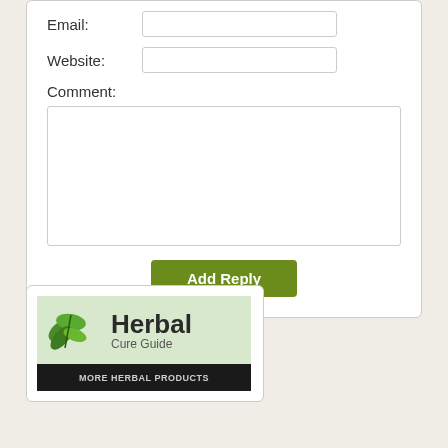Email:
Website:
Comment:
Add Reply
[Figure (illustration): Herbal Cure Guide banner with green leaf illustration and 'MORE HERBAL PRODUCTS' text on dark background]